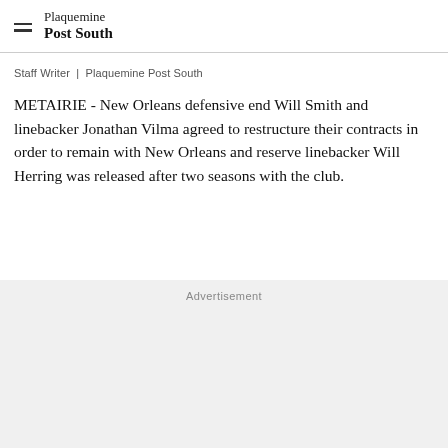Plaquemine Post South
Staff Writer | Plaquemine Post South
METAIRIE - New Orleans defensive end Will Smith and linebacker Jonathan Vilma agreed to restructure their contracts in order to remain with New Orleans and reserve linebacker Will Herring was released after two seasons with the club.
Advertisement